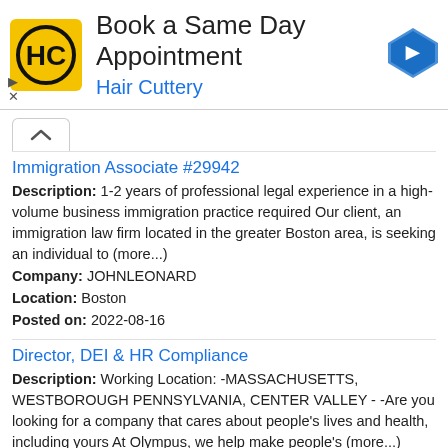[Figure (other): Hair Cuttery advertisement banner with HC logo, text 'Book a Same Day Appointment' and 'Hair Cuttery', and a blue navigation arrow icon]
Immigration Associate #29942
Description: 1-2 years of professional legal experience in a high-volume business immigration practice required Our client, an immigration law firm located in the greater Boston area, is seeking an individual to (more...)
Company: JOHNLEONARD
Location: Boston
Posted on: 2022-08-16
Director, DEI & HR Compliance
Description: Working Location: -MASSACHUSETTS, WESTBOROUGH PENNSYLVANIA, CENTER VALLEY - -Are you looking for a company that cares about people's lives and health, including yours At Olympus, we help make people's (more...)
Company: Olympus Corporation of the Americas
Location: Westborough
Posted on: 2022-08-16
Quality Assurance Specialist II
Description: Job DescriptionThe Quality Assurance Specialist II